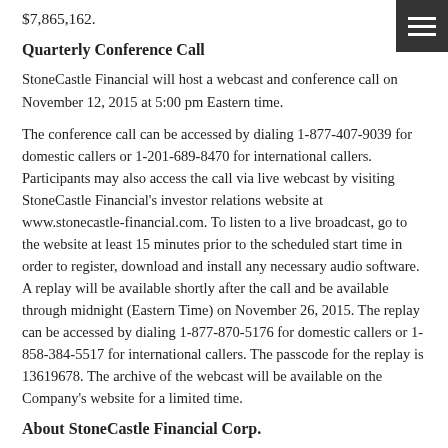$7,865,162.
Quarterly Conference Call
StoneCastle Financial will host a webcast and conference call on November 12, 2015 at 5:00 pm Eastern time.
The conference call can be accessed by dialing 1-877-407-9039 for domestic callers or 1-201-689-8470 for international callers. Participants may also access the call via live webcast by visiting StoneCastle Financial's investor relations website at www.stonecastle-financial.com. To listen to a live broadcast, go to the website at least 15 minutes prior to the scheduled start time in order to register, download and install any necessary audio software. A replay will be available shortly after the call and be available through midnight (Eastern Time) on November 26, 2015. The replay can be accessed by dialing 1-877-870-5176 for domestic callers or 1-858-384-5517 for international callers. The passcode for the replay is 13619678. The archive of the webcast will be available on the Company's website for a limited time.
About StoneCastle Financial Corp.
StoneCastle Financial is an SEC registered non-diversified, closed-end management investment company listed on the NASDAQ Global